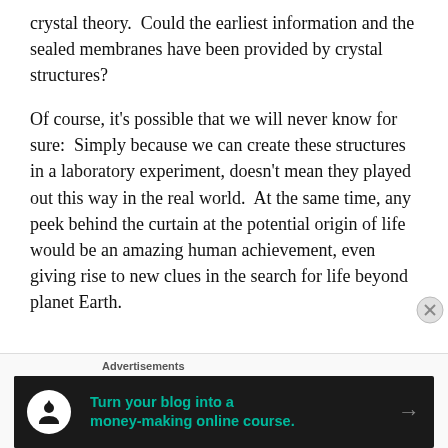crystal theory.  Could the earliest information and the sealed membranes have been provided by crystal structures?
Of course, it's possible that we will never know for sure:  Simply because we can create these structures in a laboratory experiment, doesn't mean they played out this way in the real world.  At the same time, any peek behind the curtain at the potential origin of life would be an amazing human achievement, even giving rise to new clues in the search for life beyond planet Earth.
Advertisements
[Figure (other): Advertisement banner with dark background showing a tree/user icon in a white circle on the left, green text reading 'Turn your blog into a money-making online course.' in the center, and a right-arrow on the right.]